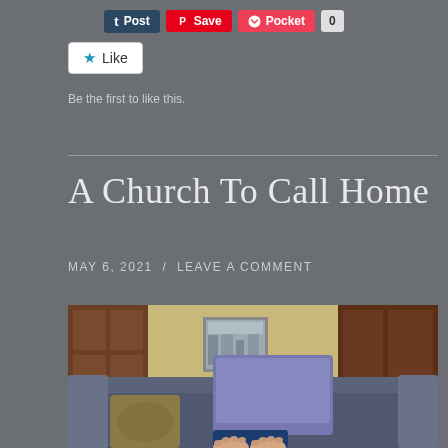[Figure (screenshot): Social sharing buttons: Tumblr Post, Pinterest Save, Pocket with count 0]
[Figure (screenshot): WordPress Like button widget showing a star icon and 'Like' text]
Be the first to like this.
A Church To Call Home
MAY 6, 2021 / LEAVE A COMMENT
[Figure (photo): Person lying on a grey couch with feet up, using a laptop. Room has wooden doors and a framed picture on a yellow wall.]